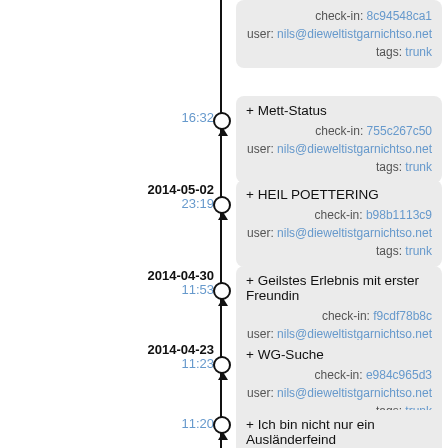check-in: 8c94548ca1 user: nils@dieweltistgarnichtso.net tags: trunk
16:32
+ Mett-Status
check-in: 755c267c50
user: nils@dieweltistgarnichtso.net tags: trunk
2014-05-02
23:19
+ HEIL POETTERING
check-in: b98b1113c9
user: nils@dieweltistgarnichtso.net tags: trunk
2014-04-30
11:53
+ Geilstes Erlebnis mit erster Freundin
check-in: f9cdf78b8c
user: nils@dieweltistgarnichtso.net tags: trunk
2014-04-23
11:23
+ WG-Suche
check-in: e984c965d3
user: nils@dieweltistgarnichtso.net tags: trunk
11:20
+ Ich bin nicht nur ein Ausländerfeind